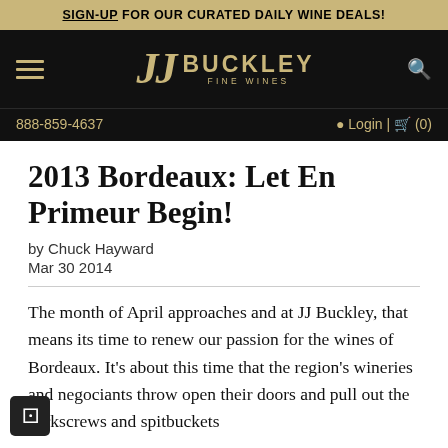SIGN-UP FOR OUR CURATED DAILY WINE DEALS!
[Figure (logo): JJ Buckley Fine Wines logo on black navigation bar with hamburger menu icon and search icon]
888-859-4637  Login | (0)
2013 Bordeaux: Let En Primeur Begin!
by Chuck Hayward
Mar 30 2014
The month of April approaches and at JJ Buckley, that means its time to renew our passion for the wines of Bordeaux. It's about this time that the region's wineries and negociants throw open their doors and pull out the corkscrews and spitbuckets